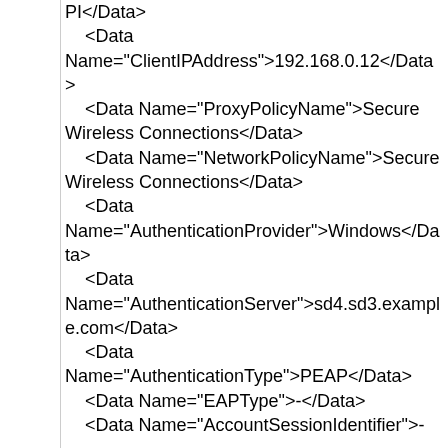PI</Data>
    <Data Name="ClientIPAddress">192.168.0.12</Data>
    <Data Name="ProxyPolicyName">Secure Wireless Connections</Data>
    <Data Name="NetworkPolicyName">Secure Wireless Connections</Data>
    <Data Name="AuthenticationProvider">Windows</Data>
    <Data Name="AuthenticationServer">sd4.sd3.example.com</Data>
    <Data Name="AuthenticationType">PEAP</Data>
    <Data Name="EAPType">-</Data>
    <Data Name="AccountSessionIdentifier">-